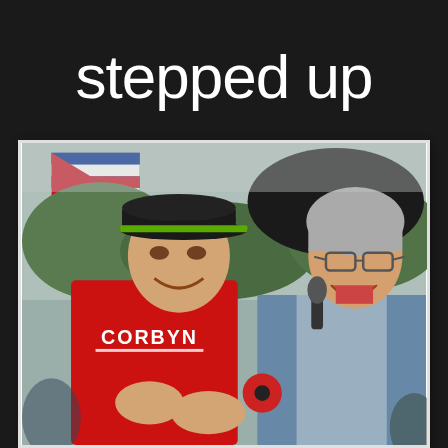stepped up
[Figure (photo): Two people at an outdoor rally or protest. On the left, a man wearing a red 'CORBYN' t-shirt and a dark cap with green brim, clapping and smiling. On the right, a woman with short grey hair and glasses, laughing and holding a microphone under a black umbrella. A Cuban flag is visible in the background.]